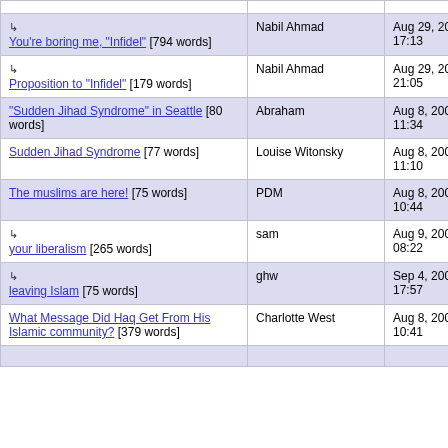| Title | Author | Date |
| --- | --- | --- |
| ↳ You're boring me, "Infidel" [794 words] | Nabil Ahmad | Aug 29, 2006 17:13 |
| ↳ Proposition to "Infidel" [179 words] | Nabil Ahmad | Aug 29, 2006 21:05 |
| "Sudden Jihad Syndrome" in Seattle [80 words] | Abraham | Aug 8, 2006 11:34 |
| Sudden Jihad Syndrome [77 words] | Louise Witonsky | Aug 8, 2006 11:10 |
| The muslims are here! [75 words] | PDM | Aug 8, 2006 10:44 |
| ↳ your liberalism [265 words] | sam | Aug 9, 2006 08:22 |
| ↳ leaving Islam [75 words] | ghw | Sep 4, 2006 17:57 |
| What Message Did Haq Get From His Islamic community? [379 words] | Charlotte West | Aug 8, 2006 10:41 |